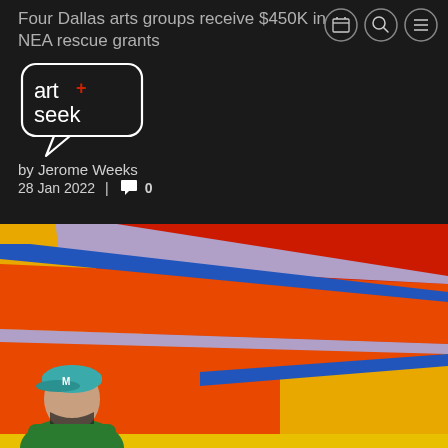Four Dallas arts groups receive $450K in NEA rescue grants
[Figure (logo): Art+Seek logo in a speech bubble outline, white on dark background]
by Jerome Weeks
28 Jan 2022  |  💬 0
[Figure (photo): Person wearing a teal/blue cap and green jacket, standing in front of a large colorful abstract painting with orange, red, yellow, and blue geometric stripes]